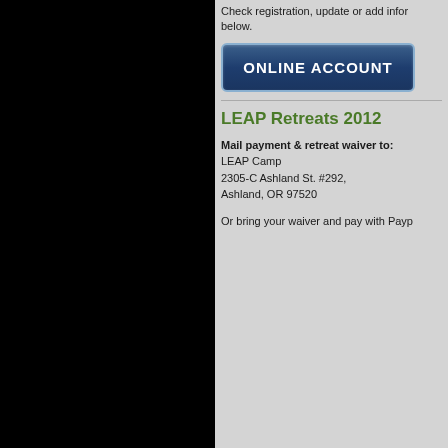Check registration, update or add infor below.
[Figure (screenshot): Blue button labeled ONLINE ACCOUNT with light border]
LEAP Retreats 2012
Mail payment & retreat waiver to:
LEAP Camp
2305-C Ashland St. #292,
Ashland, OR 97520
Or bring your waiver and pay with Payp